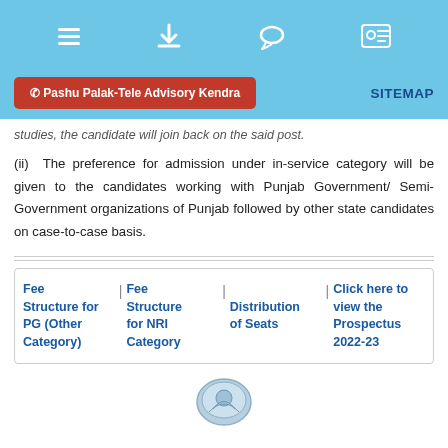Navigation bar with hamburger menu, download, chat, and profile icons
Pashu Palak-Tele Advisory Kendra | SITEMAP
studies, the candidate will join back on the said post.
(ii) The preference for admission under in-service category will be given to the candidates working with Punjab Government/ Semi-Government organizations of Punjab followed by other state candidates on case-to-case basis.
Fee Structure for PG (Other Category)
Fee Structure for NRI Category
Distribution of Seats
Click here to view the Prospectus 2022-23
[Figure (logo): Circular government/university seal logo at the bottom center of the page]